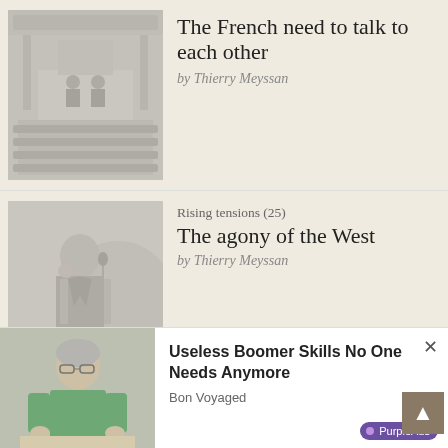[Figure (photo): Photo of a legislative assembly hall with rows of seated people]
The French need to talk to each other
by Thierry Meyssan
[Figure (photo): Photo of an elderly man in a suit with NATO logo in background]
Rising tensions (25)
The agony of the West
by Thierry Meyssan
[Figure (photo): Advertisement photo of an elderly person doing crafts]
Useless Boomer Skills No One Needs Anymore
Bon Voyaged